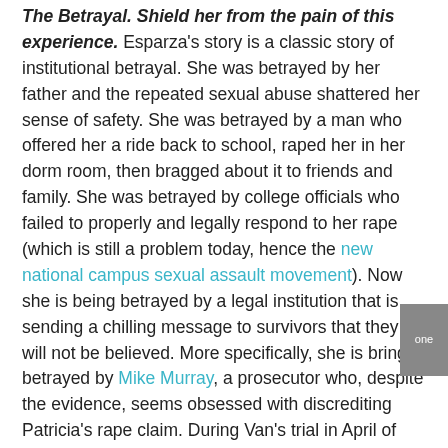The Betrayal. Shield her from the pain of this experience. Esparza's story is a classic story of institutional betrayal. She was betrayed by her father and the repeated sexual abuse shattered her sense of safety. She was betrayed by a man who offered her a ride back to school, raped her in her dorm room, then bragged about it to friends and family. She was betrayed by college officials who failed to properly and legally respond to her rape (which is still a problem today, hence the new national campus sexual assault movement). Now she is being betrayed by a legal institution that is sending a chilling message to survivors that they will not be believed. More specifically, she is bring betrayed by Mike Murray, a prosecutor who, despite the evidence, seems obsessed with discrediting Patricia's rape claim. During Van's trial in April of 2015, Murray demonstrated his persistent belief in rape myths. After one of Ramirez's friends testified that Ramirez had bragged to him that he forced a girl to have sex and made her cry, Murray challenged the witness's claim that this was rape: